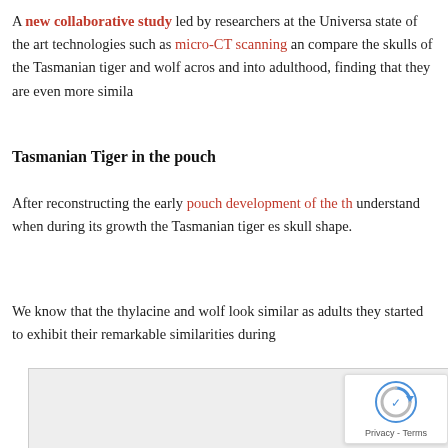A new collaborative study led by researchers at the University state of the art technologies such as micro-CT scanning and compare the skulls of the Tasmanian tiger and wolf across and into adulthood, finding that they are even more simila
Tasmanian Tiger in the pouch
After reconstructing the early pouch development of the th understand when during its growth the Tasmanian tiger es skull shape.
We know that the thylacine and wolf look similar as adults they started to exhibit their remarkable similarities during
[Figure (photo): Gray image box with reCAPTCHA privacy badge in lower right corner]